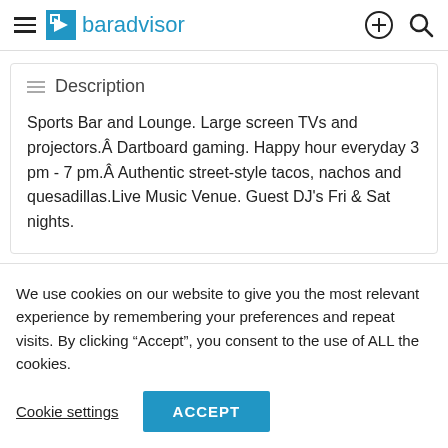baradvisor
Description
Sports Bar and Lounge. Large screen TVs and projectors.Â Dartboard gaming. Happy hour everyday 3 pm - 7 pm.Â Authentic street-style tacos, nachos and quesadillas.Live Music Venue. Guest DJ's Fri & Sat nights.
We use cookies on our website to give you the most relevant experience by remembering your preferences and repeat visits. By clicking “Accept”, you consent to the use of ALL the cookies.
Cookie settings  ACCEPT